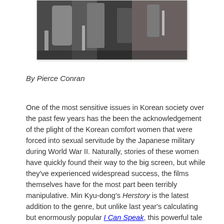[Figure (photo): Partial photo showing people with microphones, appears to be a press or interview scene, cropped at top of page]
By Pierce Conran
One of the most sensitive issues in Korean society over the past few years has the been the acknowledgement of the plight of the Korean comfort women that were forced into sexual servitude by the Japanese military during World War II. Naturally, stories of these women have quickly found their way to the big screen, but while they've experienced widespread success, the films themselves have for the most part been terribly manipulative. Min Kyu-dong's Herstory is the latest addition to the genre, but unlike last year's calculating but enormously popular I Can Speak, this powerful tale proves to the most affecting and sincere of the bunch, by a country mile.